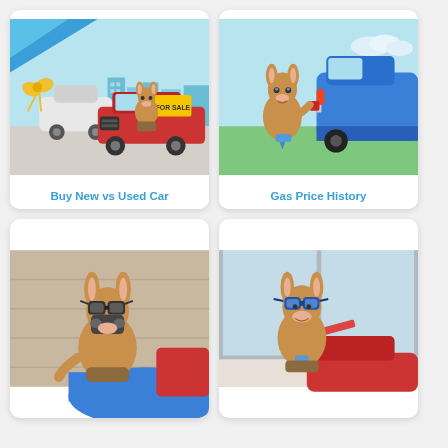[Figure (illustration): Cartoon donkey mascot standing behind a red SUV with 'FOR SALE' sign at a car dealership, white car with gold bow in background, city skyline visible]
Buy New vs Used Car
[Figure (illustration): Cartoon donkey mascot pumping gas into a blue SUV, holding a red fuel nozzle, green grass and sky background]
Gas Price History
[Figure (illustration): Cartoon donkey mascot wearing a gas mask and goggles, leaning on a blue sports car hood, tan/beige wall background]
[Figure (illustration): Cartoon donkey mascot wearing blue goggles, standing near a red sports car in a dealership with large windows, tie visible]